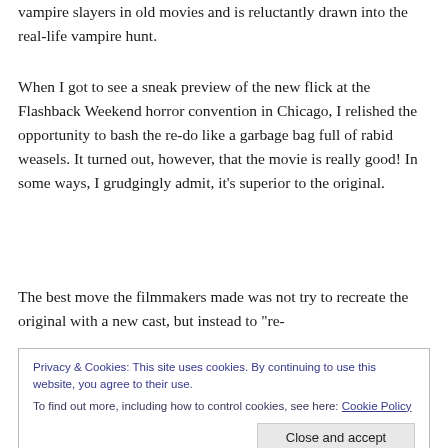vampire slayers in old movies and is reluctantly drawn into the real-life vampire hunt.
When I got to see a sneak preview of the new flick at the Flashback Weekend horror convention in Chicago, I relished the opportunity to bash the re-do like a garbage bag full of rabid weasels. It turned out, however, that the movie is really good! In some ways, I grudgingly admit, it’s superior to the original.
The best move the filmmakers made was not try to recreate the original with a new cast, but instead to “re-
Privacy & Cookies: This site uses cookies. By continuing to use this website, you agree to their use.
To find out more, including how to control cookies, see here: Cookie Policy
Close and accept
[Figure (photo): Partial photo strip visible at bottom of page]